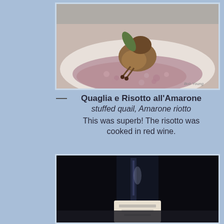[Figure (photo): Stuffed quail served atop purple-pink risotto cooked in red wine, plated on a white plate with a sage leaf garnish.]
Quaglia e Risotto all'Amarone
stuffed quail, Amarone riotto
This was superb! The risotto was cooked in red wine.
[Figure (photo): Dark wine bottle photographed close-up against a dark background, with a light-colored label partially visible at the bottom.]